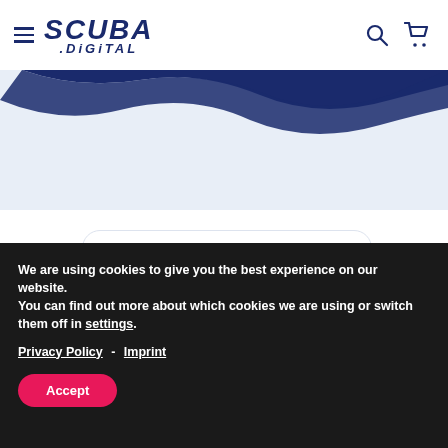SCUBA.DIGITAL — navigation header with hamburger menu, logo, search icon, and cart icon
[Figure (illustration): Wave illustration: dark navy blue wave shape on light blue background, representing a digital/ocean themed banner]
[Figure (other): White rounded rectangle card placeholder on light blue background]
We are using cookies to give you the best experience on our website.
You can find out more about which cookies we are using or switch them off in settings.
Privacy Policy - Imprint
Accept